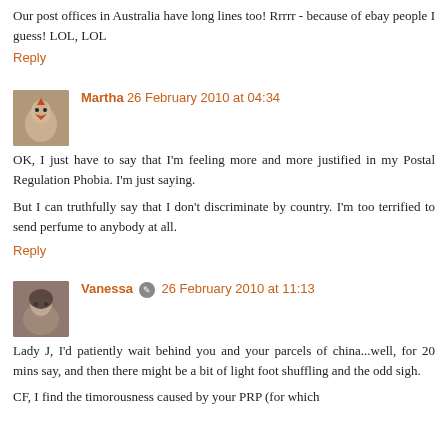Our post offices in Australia have long lines too! Rrrrr - because of ebay people I guess! LOL, LOL
Reply
Martha 26 February 2010 at 04:34
OK, I just have to say that I'm feeling more and more justified in my Postal Regulation Phobia. I'm just saying.

But I can truthfully say that I don't discriminate by country. I'm too terrified to send perfume to anybody at all.
Reply
Vanessa 26 February 2010 at 11:13
Lady J, I'd patiently wait behind you and your parcels of china...well, for 20 mins say, and then there might be a bit of light foot shuffling and the odd sigh.
CF, I find the timorousness caused by your PRP (for which